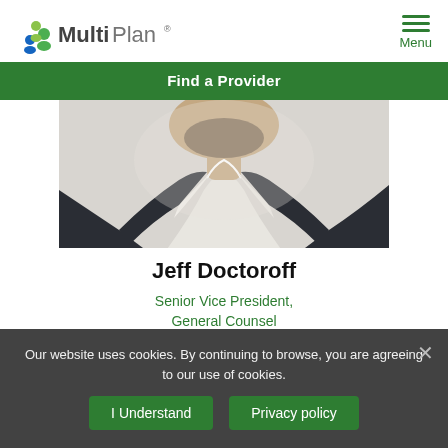MultiPlan logo and Menu navigation
Find a Provider
[Figure (photo): Headshot photo of Jeff Doctoroff, a man in a dark suit jacket and white collared shirt, cropped to show shoulders and head]
Jeff Doctoroff
Senior Vice President, General Counsel
Our website uses cookies. By continuing to browse, you are agreeing to our use of cookies.